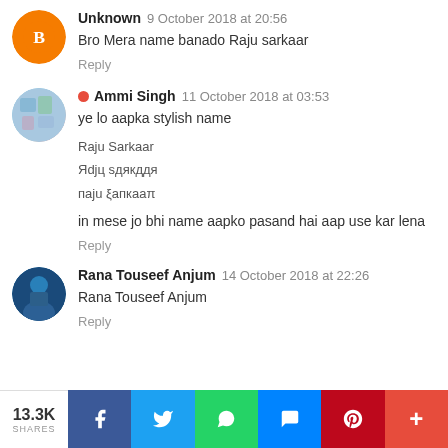Unknown 9 October 2018 at 20:56
Bro Mera name banado Raju sarkaar
Reply
Ammi Singh 11 October 2018 at 03:53
ye lo aapka stylish name
Raju Sarkaar
Яdju sдякддя
паju ξапкааπ
in mese jo bhi name aapko pasand hai aap use kar lena
Reply
Rana Touseef Anjum 14 October 2018 at 22:26
Rana Touseef Anjum
Reply
13.3K SHARES